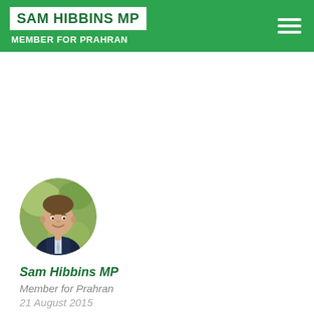SAM HIBBINS MP — MEMBER FOR PRAHRAN
[Figure (photo): Circular profile photo of Sam Hibbins MP, a man in a suit smiling, with a green/yellow blurred background]
Sam Hibbins MP
Member for Prahran
21 August 2015